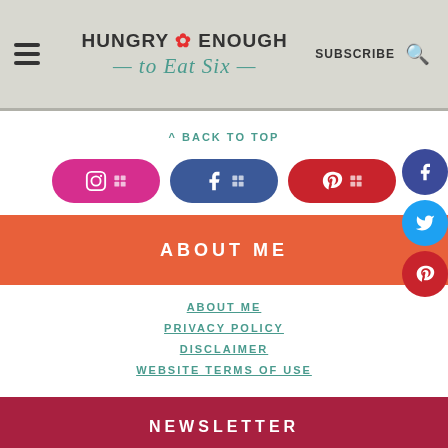HUNGRY ENOUGH to Eat Six — SUBSCRIBE
^ BACK TO TOP
[Figure (other): Three social media pill buttons: Instagram (pink), Facebook (blue), Pinterest (red)]
ABOUT ME
ABOUT ME
PRIVACY POLICY
DISCLAIMER
WEBSITE TERMS OF USE
NEWSLETTER
SIGN UP! FOR MY NEWSLETTER